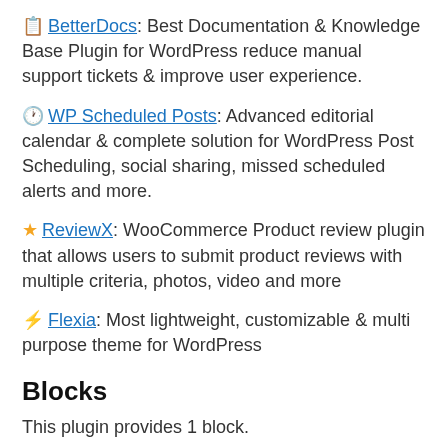📋 BetterDocs: Best Documentation & Knowledge Base Plugin for WordPress reduce manual support tickets & improve user experience.
🕐 WP Scheduled Posts: Advanced editorial calendar & complete solution for WordPress Post Scheduling, social sharing, missed scheduled alerts and more.
⭐ ReviewX: WooCommerce Product review plugin that allows users to submit product reviews with multiple criteria, photos, video and more
⚡ Flexia: Most lightweight, customizable & multi purpose theme for WordPress
Blocks
This plugin provides 1 block.
Image Gallery